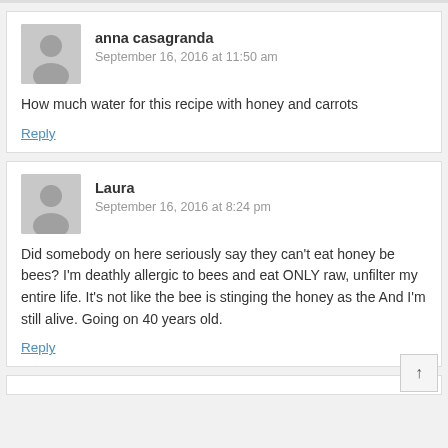anna casagranda
September 16, 2016 at 11:50 am
How much water for this recipe with honey and carrots
Reply
Laura
September 16, 2016 at 8:24 pm
Did somebody on here seriously say they can't eat honey be bees? I'm deathly allergic to bees and eat ONLY raw, unfilter my entire life. It's not like the bee is stinging the honey as the And I'm still alive. Going on 40 years old.
Reply